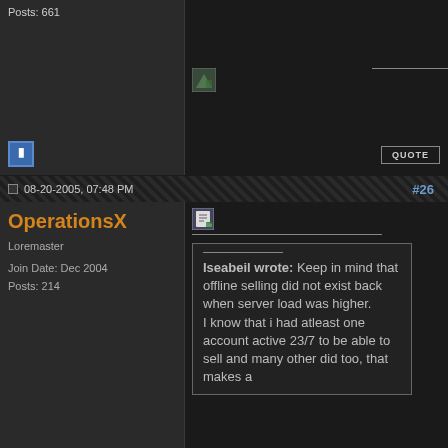Posts: 661
[Figure (screenshot): Forum icon V in blue square]
QUOTE
08-20-2005, 07:48 PM  #26
OperationsX
Loremaster
Join Date: Dec 2004
Posts: 214
Iseabeil wrote: Keep in mind that offline selling did not exist back when server load was higher.
I know that i had atleast one account active 23/7 to be able to sell and many other did too, that makes a